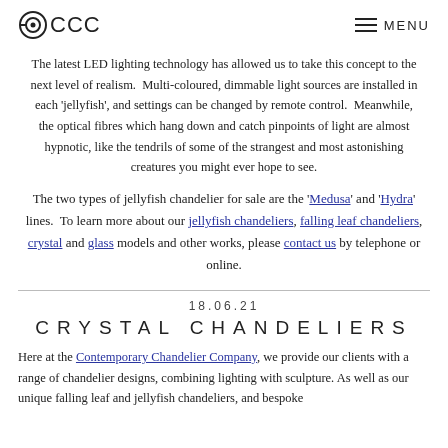CCC  MENU
The latest LED lighting technology has allowed us to take this concept to the next level of realism.  Multi-coloured, dimmable light sources are installed in each 'jellyfish', and settings can be changed by remote control.  Meanwhile, the optical fibres which hang down and catch pinpoints of light are almost hypnotic, like the tendrils of some of the strangest and most astonishing creatures you might ever hope to see.
The two types of jellyfish chandelier for sale are the 'Medusa' and 'Hydra' lines.  To learn more about our jellyfish chandeliers, falling leaf chandeliers, crystal and glass models and other works, please contact us by telephone or online.
18.06.21
CRYSTAL CHANDELIERS
Here at the Contemporary Chandelier Company, we provide our clients with a range of chandelier designs, combining lighting with sculpture. As well as our unique falling leaf and jellyfish chandeliers, and bespoke